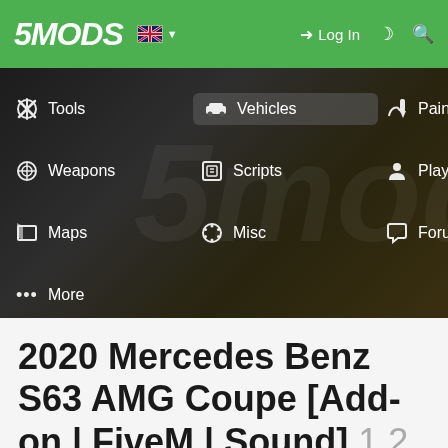5MODS | Log In
[Figure (screenshot): 5Mods website navigation menu open with categories: Tools, Vehicles (highlighted), Paint Jobs, Weapons, Scripts, Player, Maps, Misc, Forums, More — displayed over a dark blurred background]
2020 Mercedes Benz S63 AMG Coupe [Add-on | FiveM | Sound] 1.2